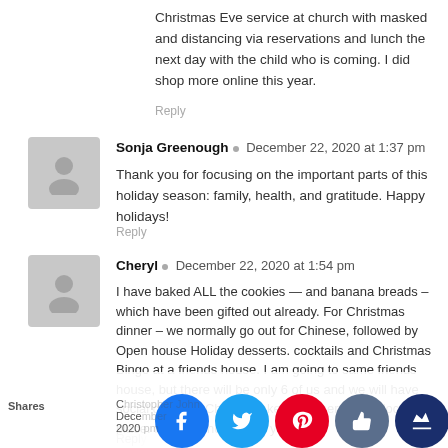Christmas Eve service at church with masked and distancing via reservations and lunch the next day with the child who is coming. I did shop more online this year.
Reply
Sonja Greenough · December 22, 2020 at 1:37 pm
Thank you for focusing on the important parts of this holiday season: family, health, and gratitude. Happy holidays!
Reply
Cheryl · December 22, 2020 at 1:54 pm
I have baked ALL the cookies — and banana breads – which have been gifted out already. For Christmas dinner – we normally go out for Chinese, followed by Open house Holiday desserts. cocktails and Christmas Bingo at a friends house. I am going to same friends house, but there will be only 6 of us and we will have social distance Chinese takeout dinner from a local place. No open house this year.
Reply
Christopher John December 22, 2020 pm